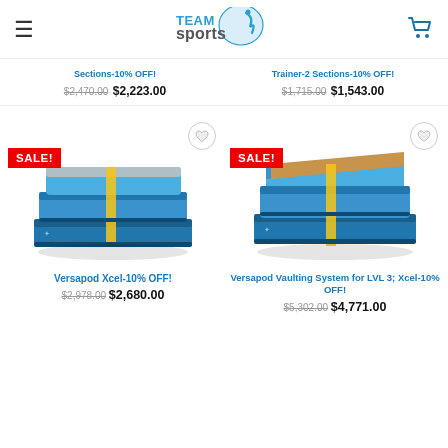Team Sports
Sections-10% OFF! $2,470.00 $2,223.00
Trainer-2 Sections-10% OFF! $1,715.00 $1,543.00
[Figure (photo): Versapod Xcel gymnastics mat product photo with blue padding, bundled with yellow straps, SALE! badge]
Versapod Xcel-10% OFF! $2,978.00 $2,680.00
[Figure (photo): Versapod Vaulting System for LVL 3 Xcel gymnastics mat product photo with blue padding and brown top, bundled, SALE! badge]
Versapod Vaulting System for LVL 3; Xcel-10% OFF! $5,302.00 $4,771.00